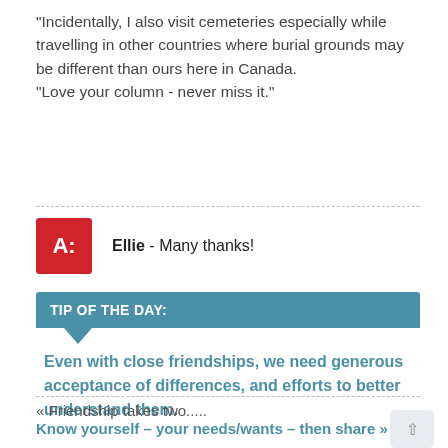“Incidentally, I also visit cemeteries especially while travelling in other countries where burial grounds may be different than ours here in Canada.
“Love your column - never miss it.”
Ellie - Many thanks!
TIP OF THE DAY:
Even with close friendships, we need generous acceptance of differences, and efforts to better understand them.
« Friendship takes two.....
Know yourself – your needs/wants – then share »